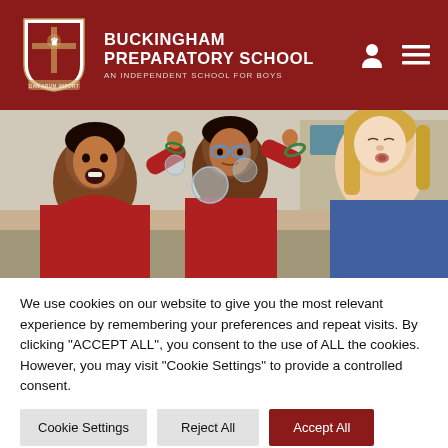Buckingham Preparatory School — An Independent School for Boys
[Figure (photo): Children in school uniform (red polo shirts) doing a science experiment with bubbles, supervised by a female teacher with long blonde hair. Classroom setting.]
We use cookies on our website to give you the most relevant experience by remembering your preferences and repeat visits. By clicking "ACCEPT ALL", you consent to the use of ALL the cookies. However, you may visit "Cookie Settings" to provide a controlled consent.